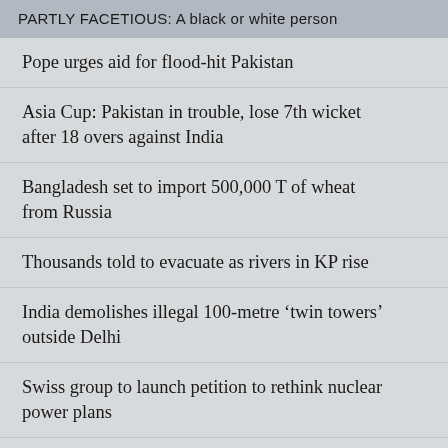PARTLY FACETIOUS: A black or white person
Pope urges aid for flood-hit Pakistan
Asia Cup: Pakistan in trouble, lose 7th wicket after 18 overs against India
Bangladesh set to import 500,000 T of wheat from Russia
Thousands told to evacuate as rivers in KP rise
India demolishes illegal 100-metre ‘twin towers’ outside Delhi
Swiss group to launch petition to rethink nuclear power plans
Japan’s Suzuki says to set up new global research company in India